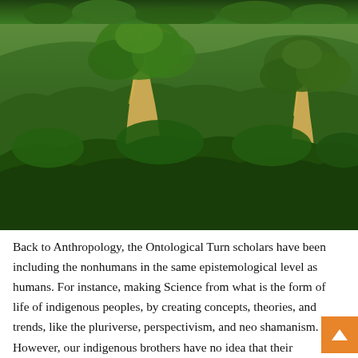[Figure (photo): Top strip of forest canopy — dense green treetops visible at the very top of the page]
[Figure (photo): Large photograph of a tropical rainforest scene showing tall emergent trees with light-colored trunks rising above a dense green canopy, with a heavily forested hillside in the background]
Back to Anthropology, the Ontological Turn scholars have been including the nonhumans in the same epistemological level as humans. For instance, making Science from what is the form of life of indigenous peoples, by creating concepts, theories, and trends, like the pluriverse, perspectivism, and neo shamanism. However, our indigenous brothers have no idea that their thinking-feeling can be